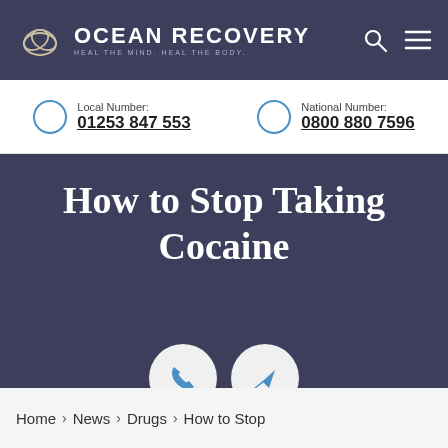OCEAN RECOVERY — HEAL THE MIND. HEAL THE BODY.
Local Number: 01253 847 553
National Number: 0800 880 7596
How to Stop Taking Cocaine
Home › News › Drugs › How to Stop